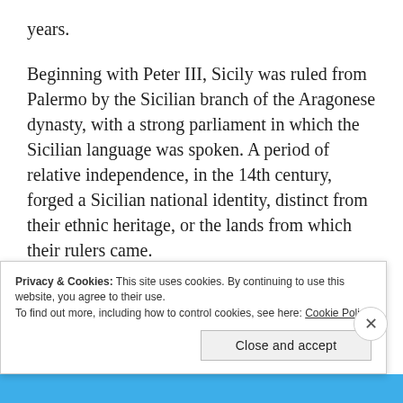years.
Beginning with Peter III, Sicily was ruled from Palermo by the Sicilian branch of the Aragonese dynasty, with a strong parliament in which the Sicilian language was spoken. A period of relative independence, in the 14th century, forged a Sicilian national identity, distinct from their ethnic heritage, or the lands from which their rulers came.
This golden age for the island of Sicily is the time that Mafia propaganda reaches back to for
Privacy & Cookies: This site uses cookies. By continuing to use this website, you agree to their use.
To find out more, including how to control cookies, see here: Cookie Policy
Close and accept